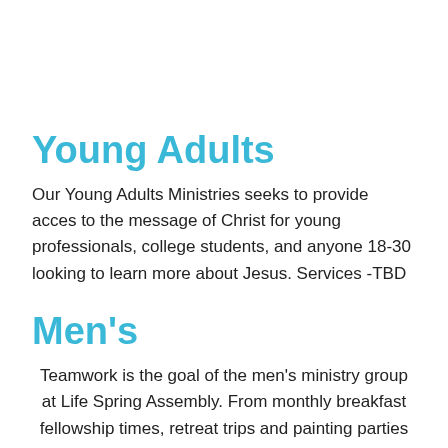Young Adults
Our Young Adults Ministries seeks to provide acces to the message of Christ for young professionals, college students, and anyone 18-30 looking to learn more about Jesus. Services -TBD
Men's
Teamwork is the goal of the men's ministry group at Life Spring Assembly. From monthly breakfast fellowship times, retreat trips and painting parties for widows, to the joint effort of raising funds for Light for the Lost missions literature, our